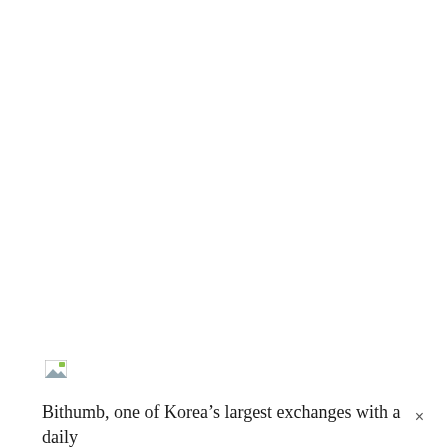[Figure (photo): Broken/missing image placeholder icon with small green and grey graphic elements]
Bithumb, one of Korea’s largest exchanges with a daily